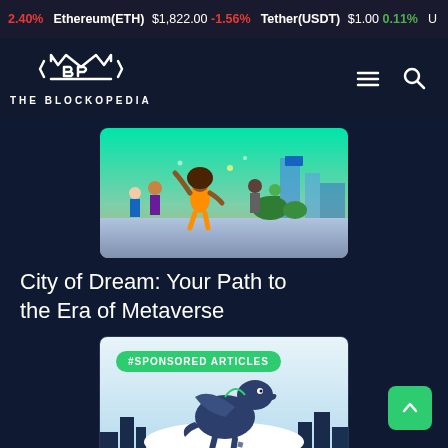2.40%  Ethereum(ETH) $1,822.00 -1.56%  Tether(USDT) $1.00 0.11%  U
[Figure (logo): The Blockopedia logo - stylized crown/shield icon with text THE BLOCKOPEDIA below]
[Figure (photo): Colorful metaverse city scene with animated characters in vibrant outdoor setting]
City of Dream: Your Path to the Era of Metaverse
[Figure (illustration): Sponsored article image showing a dinosaur-like creature leaping over a stylized city skyline with blue and white tones, with #SPONSORED ARTICLES badge overlay]
The Metaverse-Conquering